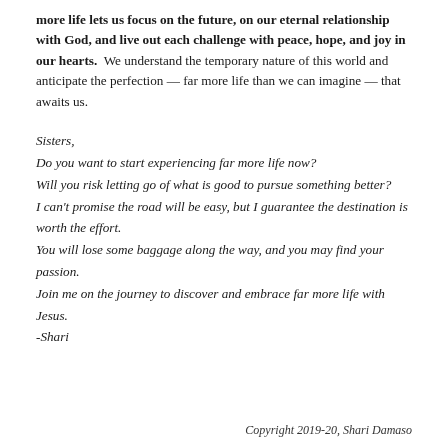more life lets us focus on the future, on our eternal relationship with God, and live out each challenge with peace, hope, and joy in our hearts. We understand the temporary nature of this world and anticipate the perfection — far more life than we can imagine — that awaits us.
Sisters,
Do you want to start experiencing far more life now?
Will you risk letting go of what is good to pursue something better?
I can't promise the road will be easy, but I guarantee the destination is worth the effort.
You will lose some baggage along the way, and you may find your passion.
Join me on the journey to discover and embrace far more life with Jesus.
-Shari
Copyright 2019-20, Shari Damaso